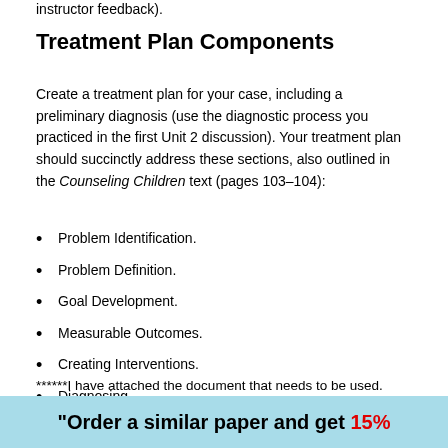instructor feedback).
Treatment Plan Components
Create a treatment plan for your case, including a preliminary diagnosis (use the diagnostic process you practiced in the first Unit 2 discussion). Your treatment plan should succinctly address these sections, also outlined in the Counseling Children text (pages 103–104):
Problem Identification.
Problem Definition.
Goal Development.
Measurable Outcomes.
Creating Interventions.
Diagnosing.
******I have attached the document that needs to be used. Also the headings that have three red stars are th
"Order a similar paper and get 15%